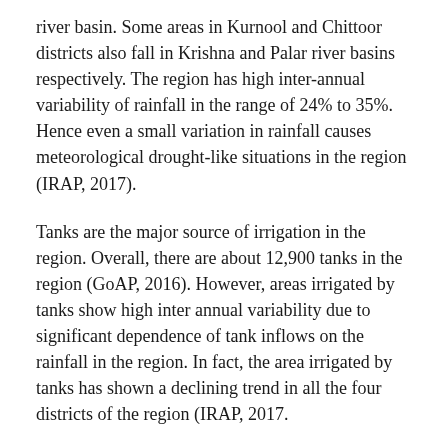river basin. Some areas in Kurnool and Chittoor districts also fall in Krishna and Palar river basins respectively. The region has high inter-annual variability of rainfall in the range of 24% to 35%. Hence even a small variation in rainfall causes meteorological drought-like situations in the region (IRAP, 2017).
Tanks are the major source of irrigation in the region. Overall, there are about 12,900 tanks in the region (GoAP, 2016). However, areas irrigated by tanks show high inter annual variability due to significant dependence of tank inflows on the rainfall in the region. In fact, the area irrigated by tanks has shown a declining trend in all the four districts of the region (IRAP, 2017.